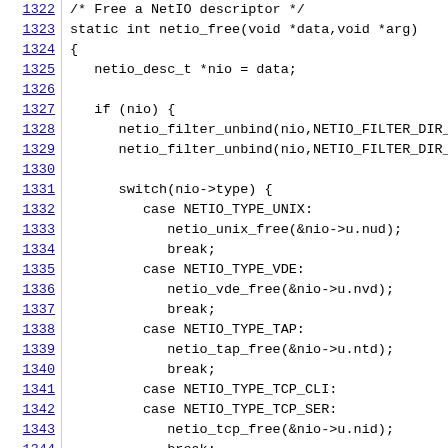[Figure (screenshot): Source code listing showing C function netio_free, lines 1322-1344, with line numbers in blue underlined on the left and code in monospace on the right.]